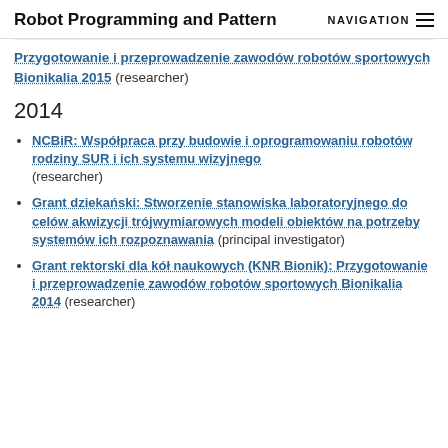Robot Programming and Pattern    NAVIGATION
Przygotowanie i przeprowadzenie zawodów robotów sportowych Bionikalia 2015 (researcher)
2014
NCBiR: Współpraca przy budowie i oprogramowaniu robotów rodziny SUR i ich systemu wizyjnego (researcher)
Grant dziekański: Stworzenie stanowiska laboratoryjnego do celów akwizycji trójwymiarowych modeli obiektów na potrzeby systemów ich rozpoznawania (principal investigator)
Grant rektorski dla kół naukowych (KNR Bionik): Przygotowanie i przeprowadzenie zawodów robotów sportowych Bionikalia 2014 (researcher)